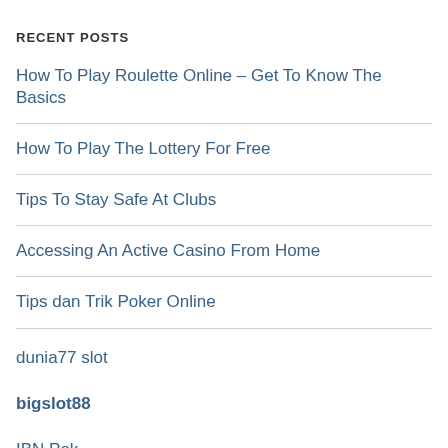RECENT POSTS
How To Play Roulette Online – Get To Know The Basics
How To Play The Lottery For Free
Tips To Stay Safe At Clubs
Accessing An Active Casino From Home
Tips dan Trik Poker Online
dunia77 slot
bigslot88
IBN Poker